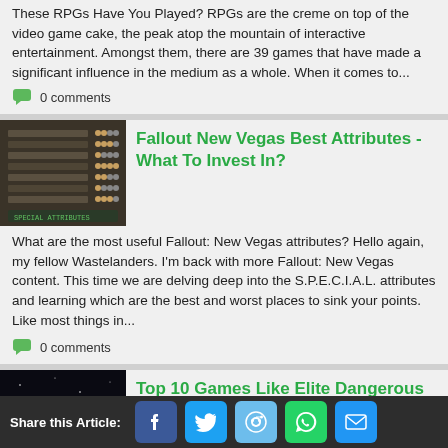These RPGs Have You Played? RPGs are the creme on top of the video game cake, the peak atop the mountain of interactive entertainment. Amongst them, there are 39 games that have made a significant influence in the medium as a whole. When it comes to...
0 comments
Fallout New Vegas Best Attributes -What To Invest In?
[Figure (photo): Screenshot showing Fallout New Vegas SPECIAL attributes selection screen with grey panels and sliders]
What are the most useful Fallout: New Vegas attributes? Hello again, my fellow Wastelanders. I'm back with more Fallout: New Vegas content. This time we are delving deep into the S.P.E.C.I.A.L. attributes and learning which are the best and worst places to sink your points. Like most things in...
0 comments
Top 10 Games Like Elite Dangerous (Games Better Than
[Figure (photo): Dark space scene showing a spacecraft or vessel against a dark background]
Share this Article: Facebook Twitter Reddit WhatsApp Email